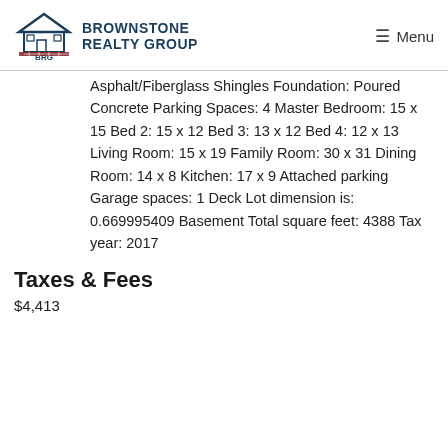BROWNSTONE REALTY GROUP
Asphalt/Fiberglass Shingles Foundation: Poured Concrete Parking Spaces: 4 Master Bedroom: 15 x 15 Bed 2: 15 x 12 Bed 3: 13 x 12 Bed 4: 12 x 13 Living Room: 15 x 19 Family Room: 30 x 31 Dining Room: 14 x 8 Kitchen: 17 x 9 Attached parking Garage spaces: 1 Deck Lot dimension is: 0.669995409 Basement Total square feet: 4388 Tax year: 2017
Taxes & Fees
$4,413